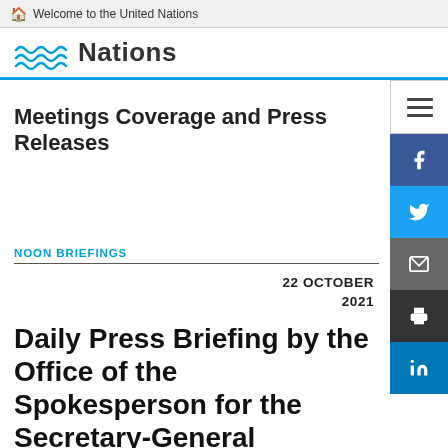Welcome to the United Nations
[Figure (logo): United Nations logo with waves and text 'Nations']
Meetings Coverage and Press Releases
NOON BRIEFINGS
22 OCTOBER 2021
Daily Press Briefing by the Office of the Spokesperson for the Secretary-General